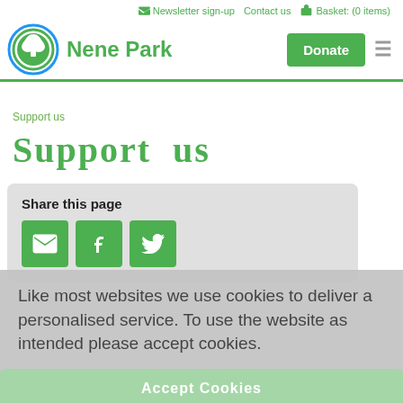Newsletter sign-up   Contact us   Basket: (0 items)
[Figure (logo): Nene Park logo: green tree inside a circle with blue and green rings, with 'Nene Park' text in green]
Support us
Support us
Share this page
Like most websites we use cookies to deliver a personalised service. To use the website as intended please accept cookies.
Accept Cookies